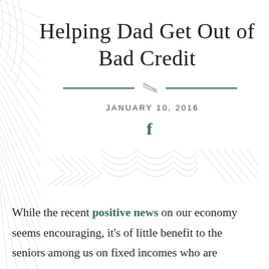Helping Dad Get Out of Bad Credit
JANUARY 10, 2016
While the recent positive news on our economy seems encouraging, it's of little benefit to the seniors among us on fixed incomes who are struggling with unmanageable credit card debt, or